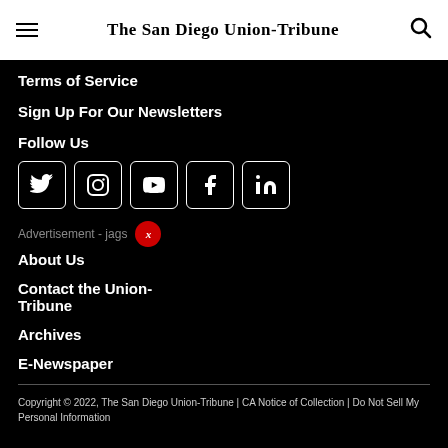The San Diego Union-Tribune
Terms of Service
Sign Up For Our Newsletters
Follow Us
[Figure (infographic): Social media icons in square boxes: Twitter, Instagram, YouTube, Facebook, LinkedIn]
Advertisement - jags X
About Us
Contact the Union-Tribune
Archives
E-Newspaper
Copyright © 2022, The San Diego Union-Tribune | CA Notice of Collection | Do Not Sell My Personal Information